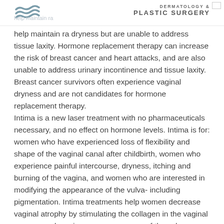DERMATOLOGY & PLASTIC SURGERY
help maintain r... dryness but are unable to address tissue laxity. Hormone replacement therapy can increase the risk of breast cancer and heart attacks, and are also unable to address urinary incontinence and tissue laxity. Breast cancer survivors often experience vaginal dryness and are not candidates for hormone replacement therapy. Intima is a new laser treatment with no pharmaceuticals necessary, and no effect on hormone levels. Intima is for: women who have experienced loss of flexibility and shape of the vaginal canal after childbirth, women who experience painful intercourse, dryness, itching and burning of the vagina, and women who are interested in modifying the appearance of the vulva- including pigmentation. Intima treatments help women decrease vaginal atrophy by stimulating the collagen in the vaginal mucosa and can improve appearance of the vulvar area and comfort during